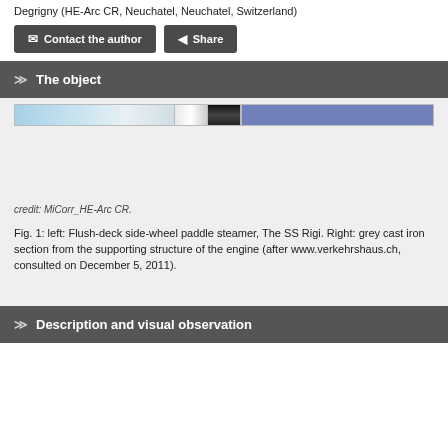Degrigny (HE-Arc CR, Neuchatel, Neuchatel, Switzerland)
Contact the author   Share
The object
[Figure (photo): Image strip showing left: a flush-deck side-wheel paddle steamer (SS Rigi) and right: a grey cast iron section from the supporting structure of the engine. The strip contains blurred/thumbnail images with blue, white, dark, and purple-blue segments.]
credit: MiCorr_HE-Arc CR.
Fig. 1: left: Flush-deck side-wheel paddle steamer, The SS Rigi. Right: grey cast iron section from the supporting structure of the engine (after www.verkehrshaus.ch, consulted on December 5, 2011).
Description and visual observation